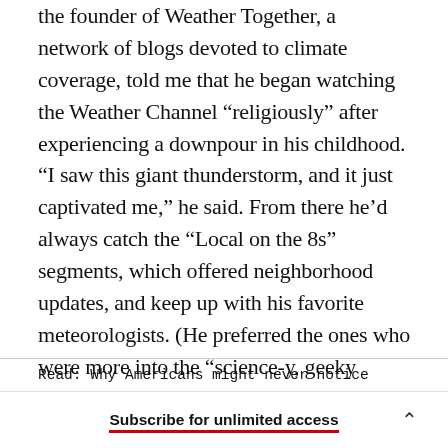the founder of Weather Together, a network of blogs devoted to climate coverage, told me that he began watching the Weather Channel “religiously” after experiencing a downpour in his childhood. “I saw this giant thunderstorm, and it just captivated me,” he said. From there he’d always catch the “Local on the 8s” segments, which offered neighborhood updates, and keep up with his favorite meteorologists. (He preferred the ones who were more into the “science-y, geeky stuff,” he added.)
Read: Why Americans might never notice
Subscribe for unlimited access